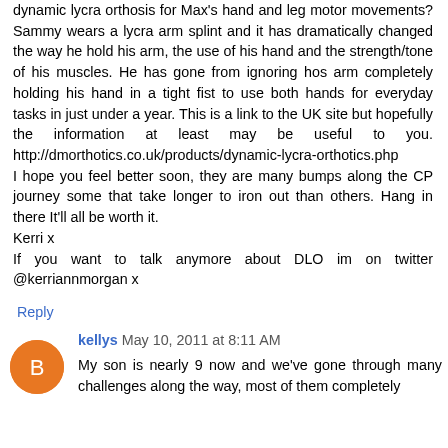dynamic lycra orthosis for Max's hand and leg motor movements? Sammy wears a lycra arm splint and it has dramatically changed the way he hold his arm, the use of his hand and the strength/tone of his muscles. He has gone from ignoring hos arm completely holding his hand in a tight fist to use both hands for everyday tasks in just under a year. This is a link to the UK site but hopefully the information at least may be useful to you. http://dmorthotics.co.uk/products/dynamic-lycra-orthotics.php
I hope you feel better soon, they are many bumps along the CP journey some that take longer to iron out than others. Hang in there It'll all be worth it.
Kerri x
If you want to talk anymore about DLO im on twitter @kerriannmorgan x
Reply
kellys May 10, 2011 at 8:11 AM
My son is nearly 9 now and we've gone through many challenges along the way, most of them completely